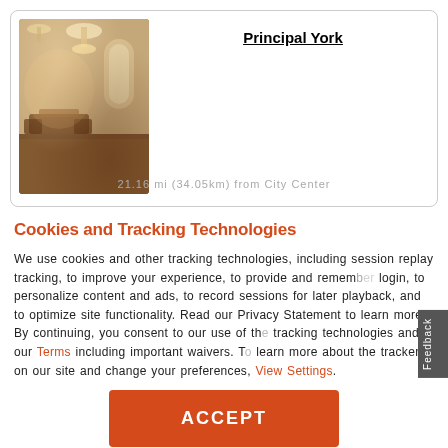[Figure (photo): Hotel interior photo showing an elegant lobby/dining area with warm lighting, chandeliers, and wooden furnishings]
Principal York
21.16 mi (34.05km) from City Center
Cookies and Tracking Technologies
We use cookies and other tracking technologies, including session replay tracking, to improve your experience, to provide and remember login, to personalize content and ads, to record sessions for later playback, and to optimize site functionality. Read our Privacy Statement to learn more. By continuing, you consent to our use of the tracking technologies and our Terms including important waivers. To learn more about the trackers on our site and change your preferences, View Settings.
ACCEPT
110 58 GBP VAT Included.